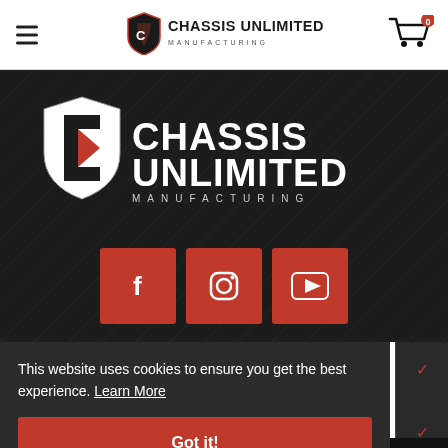[Figure (logo): Chassis Unlimited Manufacturing logo in header — shield/C icon in red and black with text 'CHASSIS UNLIMITED MANUFACTURING']
[Figure (screenshot): Shopping cart icon with red badge showing '0']
[Figure (logo): Large white Chassis Unlimited Manufacturing logo on dark background — shield icon and bold text 'CHASSIS UNLIMITED MANUFACTURING']
[Figure (infographic): Three red square social media buttons: Facebook (f), Instagram (camera icon), YouTube (play button)]
This website uses cookies to ensure you get the best experience. Learn More
Got it!